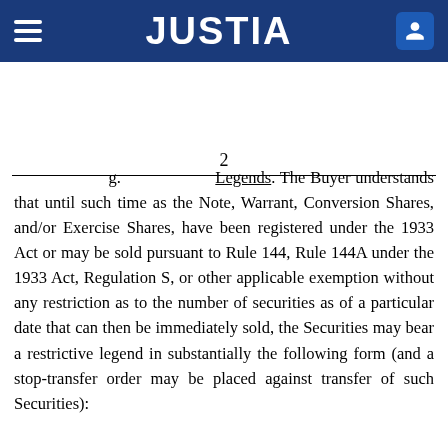JUSTIA
2
g. Legends. The Buyer understands that until such time as the Note, Warrant, Conversion Shares, and/or Exercise Shares, have been registered under the 1933 Act or may be sold pursuant to Rule 144, Rule 144A under the 1933 Act, Regulation S, or other applicable exemption without any restriction as to the number of securities as of a particular date that can then be immediately sold, the Securities may bear a restrictive legend in substantially the following form (and a stop-transfer order may be placed against transfer of such Securities):